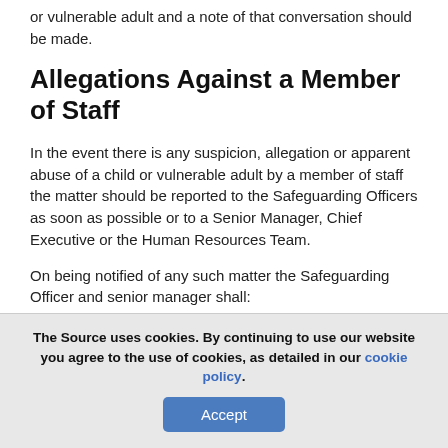or vulnerable adult and a note of that conversation should be made.
Allegations Against a Member of Staff
In the event there is any suspicion, allegation or apparent abuse of a child or vulnerable adult by a member of staff the matter should be reported to the Safeguarding Officers as soon as possible or to a Senior Manager, Chief Executive or the Human Resources Team.
On being notified of any such matter the Safeguarding Officer and senior manager shall:
Take such steps as they consider necessary to ensure the safety of the child or vulnerable adult in question.
Liaise with the person who reported the original concern and
The Source uses cookies. By continuing to use our website you agree to the use of cookies, as detailed in our cookie policy.